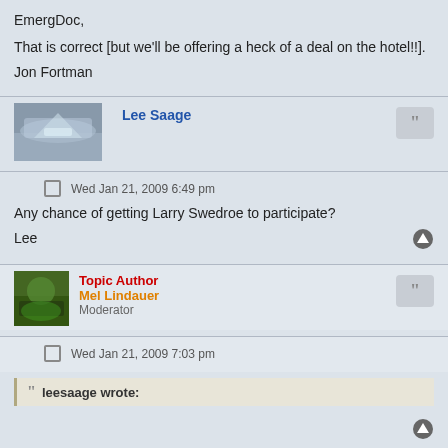EmergDoc,
That is correct [but we'll be offering a heck of a deal on the hotel!!].
Jon Fortman
Lee Saage
Wed Jan 21, 2009 6:49 pm
Any chance of getting Larry Swedroe to participate?
Lee
Topic Author
Mel Lindauer
Moderator
Wed Jan 21, 2009 7:03 pm
leesaage wrote: